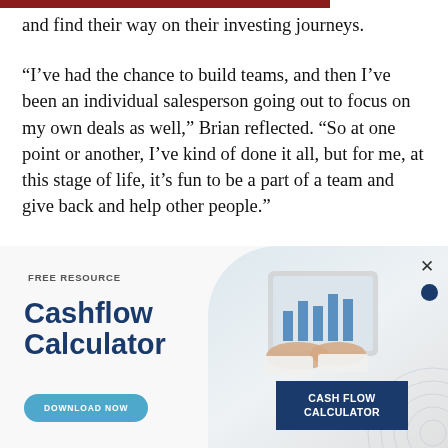and find their way on their investing journeys.
“I’ve had the chance to build teams, and then I’ve been an individual salesperson going out to focus on my own deals as well,” Brian reflected. “So at one point or another, I’ve kind of done it all, but for me, at this stage of life, it’s fun to be a part of a team and give back and help other people.”
[Figure (infographic): Advertisement banner for a Cashflow Calculator free resource download. Shows 'FREE RESOURCE' label, 'Cashflow Calculator' title in dark blue bold text, a 'DOWNLOAD NOW' button in teal, and an image of hands holding a tablet with bar charts, plus a dark blue 'CASH FLOW CALCULATOR' badge.]